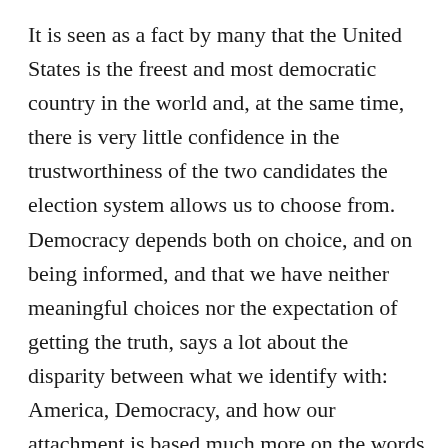It is seen as a fact by many that the United States is the freest and most democratic country in the world and, at the same time, there is very little confidence in the trustworthiness of the two candidates the election system allows us to choose from. Democracy depends both on choice, and on being informed, and that we have neither meaningful choices nor the expectation of getting the truth, says a lot about the disparity between what we identify with: America, Democracy, and how our attachment is based much more on the words themselves than any reality underneath.
The process of identity makes it so that we